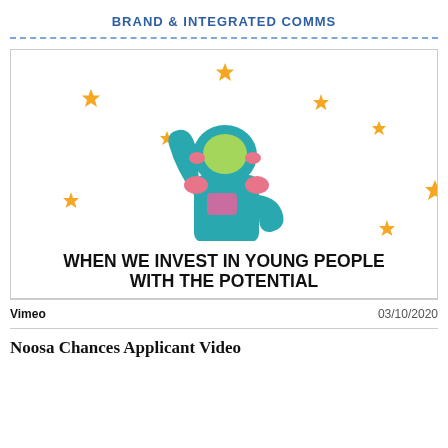BRAND & INTEGRATED COMMS
[Figure (illustration): Illustration of a cartoon astronaut in a teal spacesuit with arm raised, surrounded by orange star shapes on a white background, with bold text reading WHEN WE INVEST IN YOUNG PEOPLE WITH THE POTENTIAL]
Vimeo	03/10/2020
Noosa Chances Applicant Video